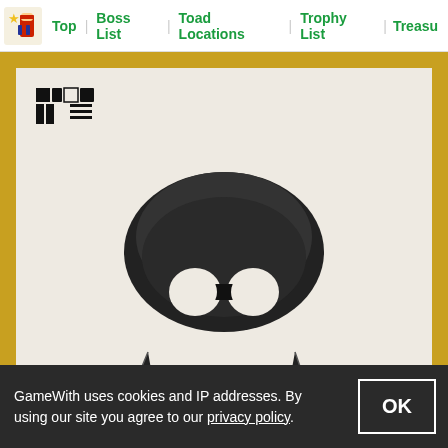Top | Boss List | Toad Locations | Trophy List | Treasu...
[Figure (photo): A framed painting/print of a squid (Cheep Cheep) in black ink on white paper with a gold frame, shown in a video game screenshot. The painting has fictional characters/text in the upper left corner. Bottom shows 'Cancel / Examine' UI prompt.]
Monster Fish Of The Great Sea - Cheep Cheep
[Figure (photo): Partial view of a second framed painting in gold frame showing another dark circular creature, partially cropped.]
GameWith uses cookies and IP addresses. By using our site you agree to our privacy policy.